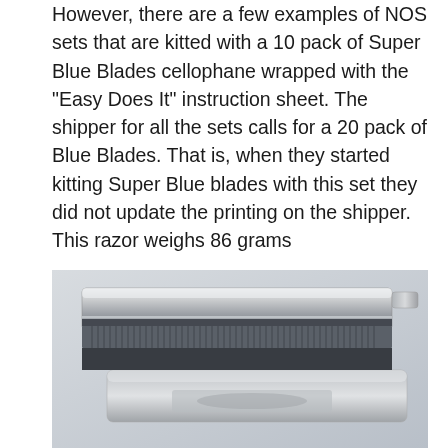However, there are a few examples of NOS sets that are kitted with a 10 pack of Super Blue Blades cellophane wrapped with the "Easy Does It" instruction sheet. The shipper for all the sets calls for a 20 pack of Blue Blades. That is, when they started kitting Super Blue blades with this set they did not update the printing on the shipper. This razor weighs 86 grams
[Figure (photo): Close-up photo of a chrome safety razor head showing the top cap, blade, and base plate with ridged guard bar, viewed from slightly above and to the side.]